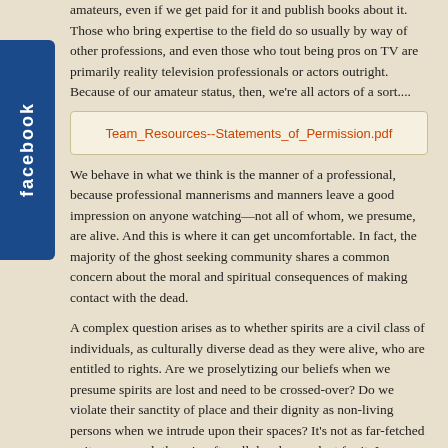amateurs, even if we get paid for it and publish books about it. Those who bring expertise to the field do so usually by way of other professions, and even those who tout being pros on TV are primarily reality television professionals or actors outright. Because of our amateur status, then, we're all actors of a sort....
Team_Resources--Statements_of_Permission.pdf
We behave in what we think is the manner of a professional, because professional mannerisms and manners leave a good impression on anyone watching—not all of whom, we presume, are alive. And this is where it can get uncomfortable. In fact, the majority of the ghost seeking community shares a common concern about the moral and spiritual consequences of making contact with the dead.
A complex question arises as to whether spirits are a civil class of individuals, as culturally diverse dead as they were alive, who are entitled to rights. Are we proselytizing our beliefs when we presume spirits are lost and need to be crossed-over? Do we violate their sanctity of place and their dignity as non-living persons when we intrude upon their spaces? It's not as far-fetched as it may sound; there is, after all, legal precedent for it. In many states, realtors are required by law to disclose one or